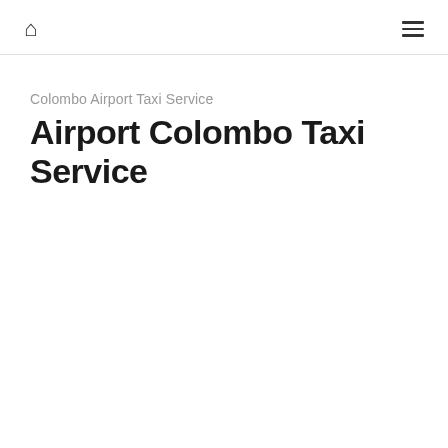🏠 ≡
Colombo Airport Taxi Service
Airport Colombo Taxi Service